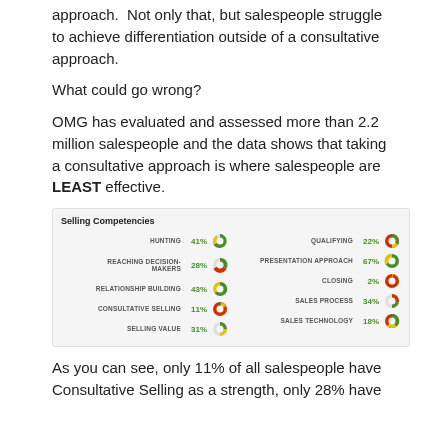approach.  Not only that, but salespeople struggle to achieve differentiation outside of a consultative approach.
What could go wrong?
OMG has evaluated and assessed more than 2.2 million salespeople and the data shows that taking a consultative approach is where salespeople are LEAST effective.
[Figure (infographic): Selling Competencies chart showing 10 competencies with pie chart icons and percentages: Hunting 41%, Reaching Decision-Makers 28%, Relationship Building 43%, Consultative Selling 11%, Selling Value 31%, Qualifying 22%, Presentation Approach 67%, Closing 2%, Sales Process 34%, Sales Technology 18%]
As you can see, only 11% of all salespeople have Consultative Selling as a strength, only 28% have